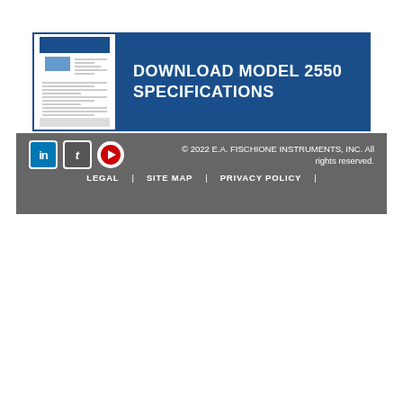[Figure (screenshot): Banner with a thumbnail image of a document on the left and blue background with bold text 'DOWNLOAD MODEL 2550 SPECIFICATIONS' on the right.]
[Figure (infographic): Dark gray footer bar with social media icons (LinkedIn, Twitter, YouTube) on the left, copyright text on the right, and navigation links LEGAL | SITE MAP | PRIVACY POLICY | centered below.]
@EAFischione - 17 May - Game-changing microelectronics delayering solution. Thursday, May 19, 10 a.m. EDT. Webinar registration:... https://t.co/jAD1kql0ih